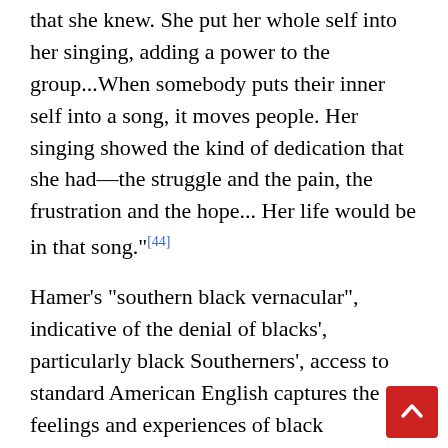that she knew. She put her whole self into her singing, adding a power to the group...When somebody puts their inner self into a song, it moves people. Her singing showed the kind of dedication that she had—the struggle and the pain, the frustration and the hope... Her life would be in that song."[44]
Hamer's "southern black vernacular", indicative of the denial of blacks', particularly black Southerners', access to standard American English captures the feelings and experiences of black Southerners despite of that lack of access.[43] According to Davis Houck and Maegan Parker Brooks in The Speeches of Fannie Lou Hamer, "the designation 'black' acknowledges aspects of Hamer's racialized